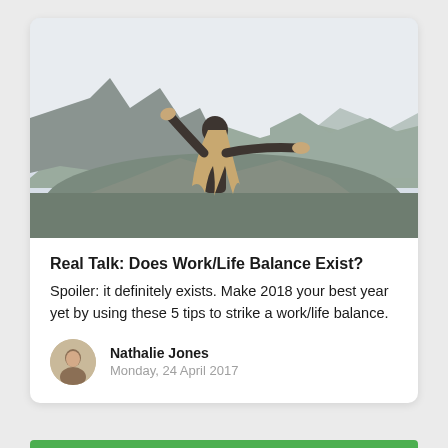[Figure (photo): Photo of a woman with long blonde hair seen from behind, arms outstretched wide, standing in front of a rocky cliff landscape with a pale sky.]
Real Talk: Does Work/Life Balance Exist?
Spoiler: it definitely exists. Make 2018 your best year yet by using these 5 tips to strike a work/life balance.
Nathalie Jones
Monday, 24 April 2017